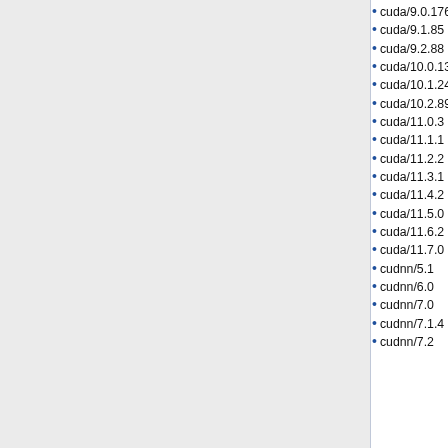cuda/9.0.176
cuda/9.1.85
cuda/9.2.88
cuda/10.0.130
cuda/10.1.243
cuda/10.2.89
cuda/11.0.3
cuda/11.1.1
cuda/11.2.2
cuda/11.3.1
cuda/11.4.2
cuda/11.5.0
cuda/11.6.2
cuda/11.7.0
cudnn/5.1
cudnn/6.0
cudnn/7.0
cudnn/7.1.4
cudnn/7.2
libdrm/2.4.100
libdwarf/20160507
libedit/3.1-20170329
libedit/3.1-20210216
libelf/0.8.13
libevent/2.0.19
libevent/2.0.21
libevent/2.1.12
libfabric/1.8.0
libffi/3.2.1
libfontenc/1.1.3
libfs/1.0.7
libgcrypt/1.6.2
libgcrypt/1.8.1
libgcrypt/1.9.3
libgd/2.2.4
libgeotiff/1.5.1
perl-dbi/1.630
perl-devel-stacktrace/2.02
perl-digest-md5/2.55
perl-encode-locale/1.05
perl-error/0.17025
perl-exception-class/1.43
perl-exporter-tiny/1.000000
sqlite/3.
sra-toolkit/2
sra-toolkit/2
sra-toolkit/2
star/2.5
star/2.7
star/2.7
sublime-text/2.0
subread
subread
subvers
subvers